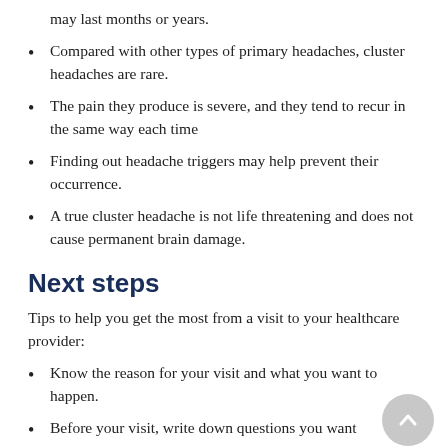may last months or years.
Compared with other types of primary headaches, cluster headaches are rare.
The pain they produce is severe, and they tend to recur in the same way each time
Finding out headache triggers may help prevent their occurrence.
A true cluster headache is not life threatening and does not cause permanent brain damage.
Next steps
Tips to help you get the most from a visit to your healthcare provider:
Know the reason for your visit and what you want to happen.
Before your visit, write down questions you want answered.